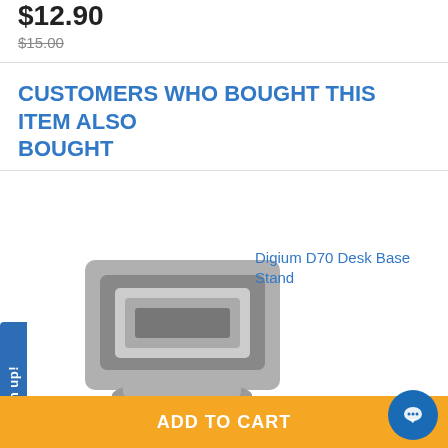$12.90
$15.00
CUSTOMERS WHO BOUGHT THIS ITEM ALSO BOUGHT
[Figure (photo): Digium D70 Desk Base Stand product photo - gray metal desk stand]
Digium D70 Desk Base Stand
$5.95
$12.99
Digium D70 IP Phone with Text Keys
ADD TO CART